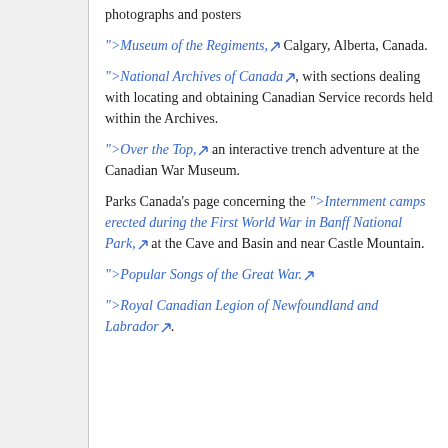photographs and posters
">>Museum of the Regiments, Calgary, Alberta, Canada.
">>National Archives of Canada, with sections dealing with locating and obtaining Canadian Service records held within the Archives.
">>Over the Top, an interactive trench adventure at the Canadian War Museum.
Parks Canada's page concerning the ">>Internment camps erected during the First World War in Banff National Park, at the Cave and Basin and near Castle Mountain.
">>Popular Songs of the Great War.
">>Royal Canadian Legion of Newfoundland and Labrador.